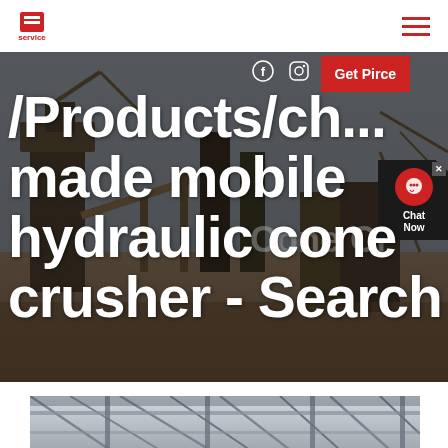service [logo] [hamburger menu]
[Figure (photo): Industrial mining/quarry site with mobile hydraulic cone crusher machinery and equipment in background. Dark industrial scene with crane-like structures and conveyor belts.]
/Products/ch... made mobile hydraulic cone crusher - Search
[Figure (photo): Bottom portion of an industrial facility interior showing steel structural beams and framework, appears to be a factory or processing plant.]